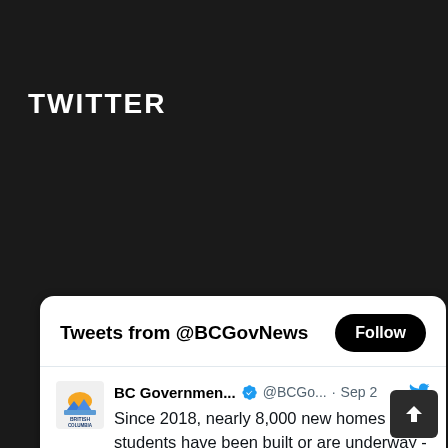TWITTER
[Figure (screenshot): Twitter widget showing tweets from @BCGovNews with a Follow button, BC Government tweet dated Sep 2 about 8,000 new student homes since 2018, and a partial image showing 'New homes for' text on blue background]
Tweets from @BCGovNews
BC Governmen... @BCGo... · Sep 2
Since 2018, nearly 8,000 new homes for students have been built or are underway - making up for years where it wasn't getting built. This helps students and local renters by taking pressure off the rental market. Learn more: news.gov.bc.ca/27395 #bcpse